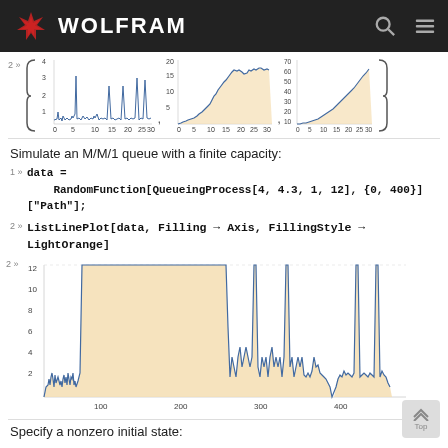WOLFRAM
[Figure (area-chart): Three small area/line charts showing stochastic process paths with filled area under the curve]
Simulate an M/M/1 queue with a finite capacity:
1» data = RandomFunction[QueueingProcess[4, 4.3, 1, 12], {0, 400}]["Path"];
2» ListLinePlot[data, Filling → Axis, FillingStyle → LightOrange]
[Figure (area-chart): Area chart showing M/M/1 queue simulation data with y-axis 0-12 and x-axis 0-400, filled with light orange]
Specify a nonzero initial state: